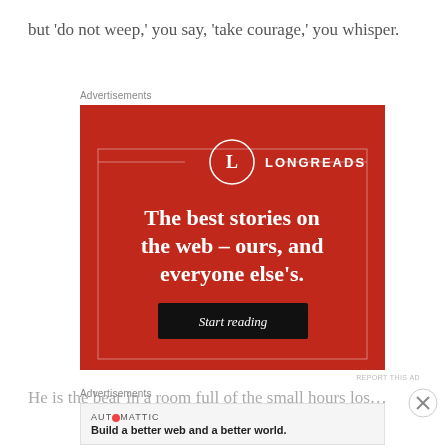but ‘do not weep,’ you say, ‘take courage,’ you whisper.
Advertisements
[Figure (illustration): Longreads advertisement on red background with white text: 'The best stories on the web – ours, and everyone else’s.' with a black 'Start reading' button and the Longreads logo (L in a circle) at the top.]
REPORT THIS AD
Advertisements
[Figure (illustration): Automattic advertisement: logo text 'AUTOMATTIC' with tagline 'Build a better web and a better world.']